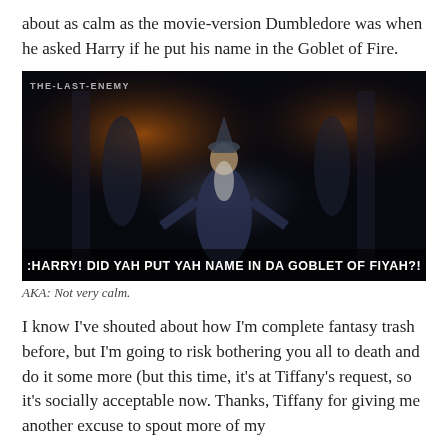about as calm as the movie-version Dumbledore was when he asked Harry if he put his name in the Goblet of Fire.
[Figure (screenshot): Movie screenshot showing Dumbledore in a dark hall, with white subtitle text: ':HARRY! DID YAH PUT YAH NAME IN DA GOBLET OF FIYAH?!' Watermark reads 'THE-LAST-ENEMY' in top left.]
AKA: Not very calm.
I know I've shouted about how I'm complete fantasy trash before, but I'm going to risk bothering you all to death and do it some more (but this time, it's at Tiffany's request, so it's socially acceptable now. Thanks, Tiffany for giving me another excuse to spout more of my